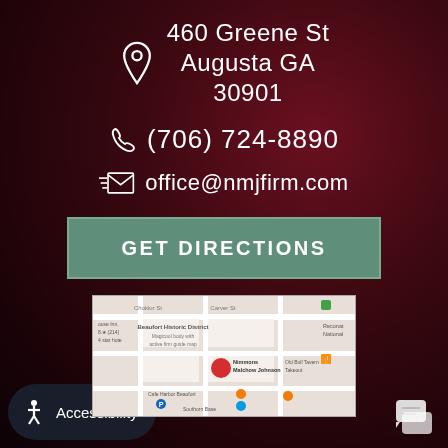460 Greene St Augusta GA 30901
(706) 724-8890
office@nmjfirm.com
GET DIRECTIONS
[Figure (map): Google Maps showing location of Nimmons Malchow Johnson law firm at 460 Greene St, Augusta GA, with surrounding streets and landmarks including Beaufort Historic District, Old Bull Tavern, and Southorn Base.]
Accessibility